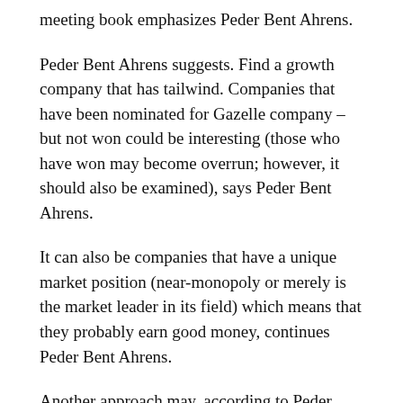meeting book emphasizes Peder Bent Ahrens.
Peder Bent Ahrens suggests. Find a growth company that has tailwind. Companies that have been nominated for Gazelle company – but not won could be interesting (those who have won may become overrun; however, it should also be examined), says Peder Bent Ahrens.
It can also be companies that have a unique market position (near-monopoly or merely is the market leader in its field) which means that they probably earn good money, continues Peder Bent Ahrens.
Another approach may, according to Peder Bent Ahrens, be companies that have won large orders or otherwise make themselves interesting. Of course in the case of be the company that you have always wanted to work for, says Peder Bent Ahrens.